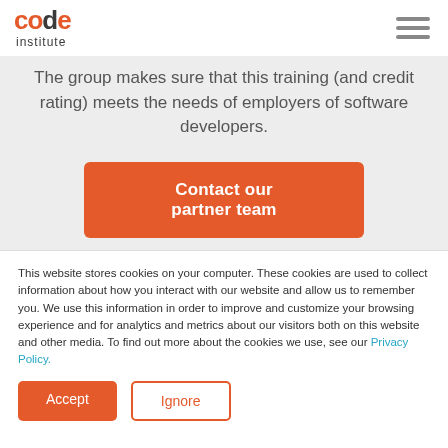[Figure (logo): Code Institute logo - 'code' in dark gray and orange, 'institute' below in dark gray]
The group makes sure that this training (and credit rating) meets the needs of employers of software developers.
Contact our partner team
This website stores cookies on your computer. These cookies are used to collect information about how you interact with our website and allow us to remember you. We use this information in order to improve and customize your browsing experience and for analytics and metrics about our visitors both on this website and other media. To find out more about the cookies we use, see our Privacy Policy.
Accept
Ignore